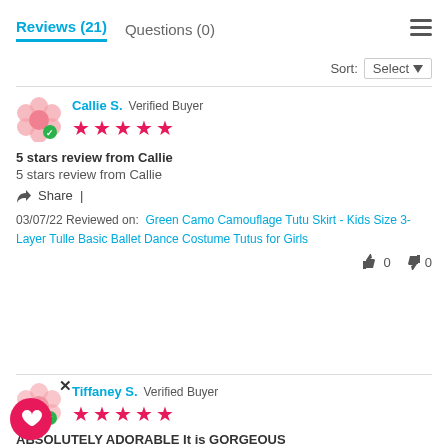Reviews (21)   Questions (0)
Sort: Select
Callie S. Verified Buyer
★★★★★
5 stars review from Callie
5 stars review from Callie
Share  |
03/07/22 Reviewed on:  Green Camo Camouflage Tutu Skirt - Kids Size 3-Layer Tulle Basic Ballet Dance Costume Tutus for Girls
👍 0   👎 0
Tiffaney S. Verified Buyer
★★★★★
ABSOLUTELY ADORABLE It is GORGEOUS